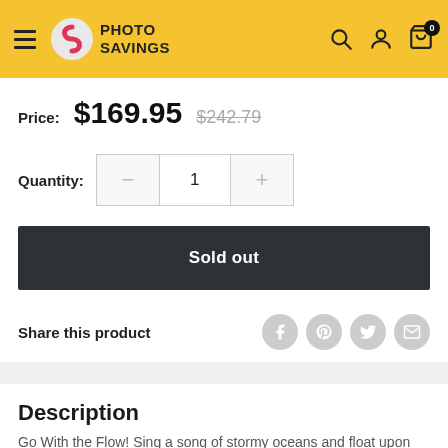Photo Savings — navigation header with logo, search, account, and cart icons
Price: $169.95  $242.79
Quantity: 1
Sold out
Share this product
Description
Go With the Flow! Sing a song of stormy oceans and float upon